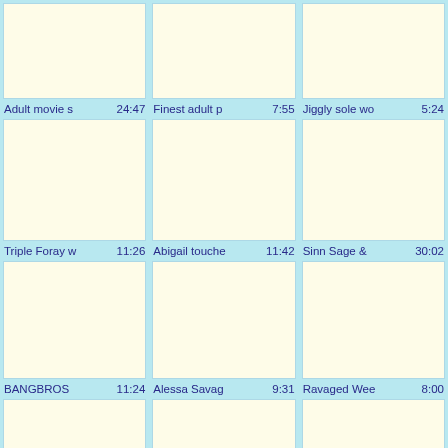[Figure (screenshot): Video thumbnail grid row 1, column 1 - blank cream thumbnail]
Adult movie s  24:47
[Figure (screenshot): Video thumbnail grid row 1, column 2 - blank cream thumbnail]
Finest adult p  7:55
[Figure (screenshot): Video thumbnail grid row 1, column 3 - blank cream thumbnail]
Jiggly sole wo  5:24
[Figure (screenshot): Video thumbnail grid row 2, column 1 - blank cream thumbnail]
Triple Foray w  11:26
[Figure (screenshot): Video thumbnail grid row 2, column 2 - blank cream thumbnail]
Abigail touche  11:42
[Figure (screenshot): Video thumbnail grid row 2, column 3 - blank cream thumbnail]
Sinn Sage &   30:02
[Figure (screenshot): Video thumbnail grid row 3, column 1 - blank cream thumbnail]
BANGBROS  11:24
[Figure (screenshot): Video thumbnail grid row 3, column 2 - blank cream thumbnail]
Alessa Savag  9:31
[Figure (screenshot): Video thumbnail grid row 3, column 3 - blank cream thumbnail]
Ravaged Wee  8:00
[Figure (screenshot): Video thumbnail grid row 4, column 1 - blank cream thumbnail]
[Figure (screenshot): Video thumbnail grid row 4, column 2 - blank cream thumbnail]
[Figure (screenshot): Video thumbnail grid row 4, column 3 - blank cream thumbnail]